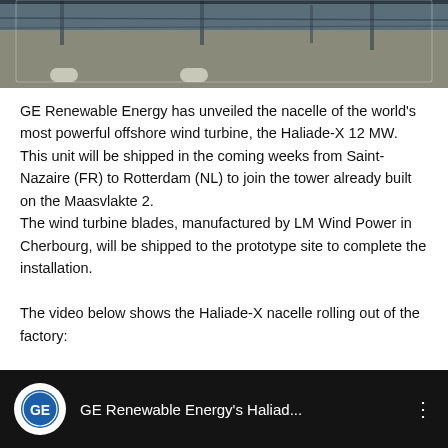[Figure (photo): Top portion of a photograph showing an outdoor industrial/construction site with metal poles and concrete ground, likely the Maasvlakte 2 wind turbine site]
GE Renewable Energy has unveiled the nacelle of the world's most powerful offshore wind turbine, the Haliade-X 12 MW. This unit will be shipped in the coming weeks from Saint-Nazaire (FR) to Rotterdam (NL) to join the tower already built on the Maasvlakte 2.
The wind turbine blades, manufactured by LM Wind Power in Cherbourg, will be shipped to the prototype site to complete the installation.

The video below shows the Haliade-X nacelle rolling out of the factory:
[Figure (screenshot): YouTube video thumbnail/player bar showing GE Renewable Energy logo circle on black background with text 'GE Renewable Energy's Haliad...' and a three-dot menu icon]